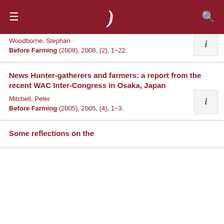≡  )  🔍
Woodborne, Stephan
Before Farming (2008), 2008, (2), 1–22.
News Hunter-gatherers and farmers: a report from the recent WAC Inter-Congress in Osaka, Japan
Mitchell, Peter
Before Farming (2005), 2005, (4), 1–3.
Some reflections on the